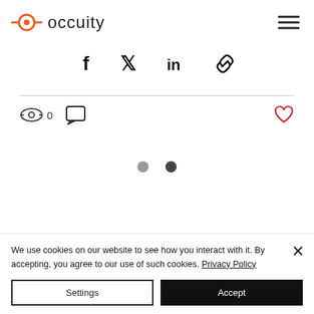occuity
[Figure (other): Social share icons: Facebook, Twitter, LinkedIn, link/copy]
[Figure (other): Stats row: eye icon with count 0, comment icon, heart icon (outlined, red)]
[Figure (other): Carousel pagination dots: two circles (grey and dark grey)]
We use cookies on our website to see how you interact with it. By accepting, you agree to our use of such cookies. Privacy Policy
Settings
Accept